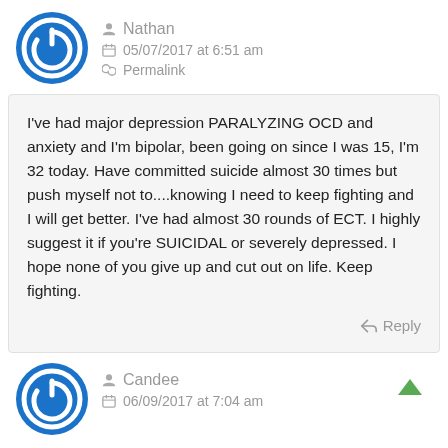Nathan
05/07/2017 at 6:51 am
Permalink
I've had major depression PARALYZING OCD and anxiety and I'm bipolar, been going on since I was 15, I'm 32 today. Have committed suicide almost 30 times but push myself not to....knowing I need to keep fighting and I will get better. I've had almost 30 rounds of ECT. I highly suggest it if you're SUICIDAL or severely depressed. I hope none of you give up and cut out on life. Keep fighting.
Reply
Candee
06/09/2017 at 7:04 am